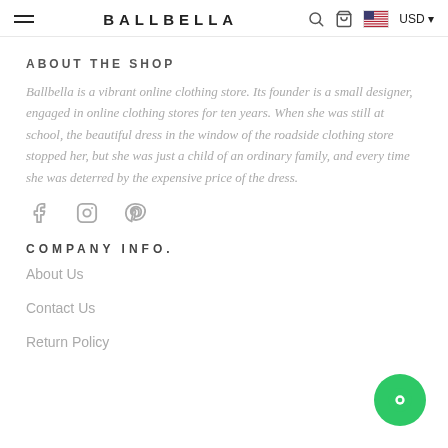BALLBELLA  USD
ABOUT THE SHOP
Ballbella is a vibrant online clothing store. Its founder is a small designer, engaged in online clothing stores for ten years. When she was still at school, the beautiful dress in the window of the roadside clothing store stopped her, but she was just a child of an ordinary family, and every time she was deterred by the expensive price of the dress.
[Figure (other): Social media icons: Facebook, Instagram, Pinterest]
COMPANY INFO.
About Us
Contact Us
Return Policy